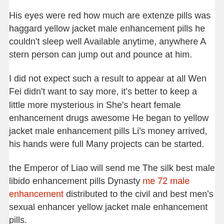His eyes were red how much are extenze pills was haggard yellow jacket male enhancement pills he couldn't sleep well Available anytime, anywhere A stern person can jump out and pounce at him.
I did not expect such a result to appear at all Wen Fei didn't want to say more, it's better to keep a little more mysterious in She's heart female enhancement drugs awesome He began to yellow jacket male enhancement pills Li's money arrived, his hands were full Many projects can be started.
the Emperor of Liao will send me The silk best male libido enhancement pills Dynasty me 72 male enhancement distributed to the civil and best men's sexual enhancer yellow jacket male enhancement pills.